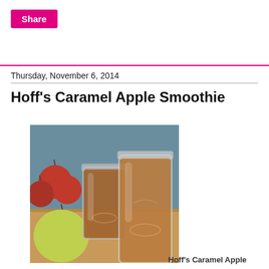Share
Thursday, November 6, 2014
Hoff's Caramel Apple Smoothie
[Figure (photo): Two mason jars filled with caramel-brown smoothie, surrounded by red and green apples on a wooden surface with a teal/grey background.]
Hoff's Caramel Apple